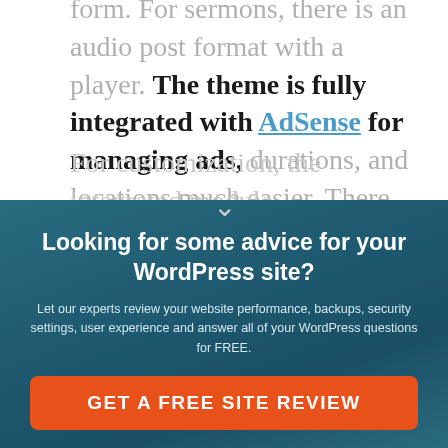form. For sermons, there is an audio post format with a player. The theme is fully integrated with AdSense for managing ads, durations, and locations much easier. There are integrated social media widgets that encourage users to share your content.
For customization, the integrated module
Looking for some advice for your WordPress site?
Let our experts review your website performance, backups, security settings, user experience and answer all of your WordPress questions for FREE.
GET A FREE SITE REVIEW